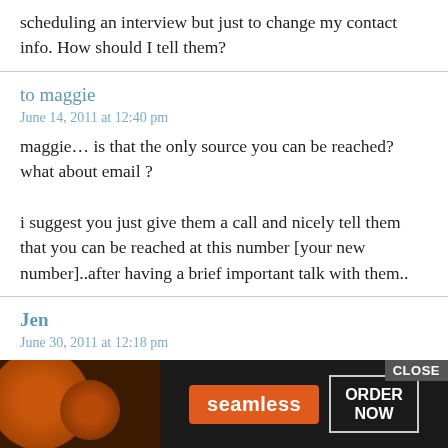scheduling an interview but just to change my contact info. How should I tell them?
to maggie
June 14, 2011 at 12:40 pm
maggie… is that the only source you can be reached? what about email ?
i suggest you just give them a call and nicely tell them that you can be reached at this number [your new number]..after having a brief important talk with them..
Jen
June 30, 2011 at 12:18 pm
I submitted an application last Wednesday and recently wrote a [text obscured by ad] as carefully [text obscured by ad] ng,
[Figure (screenshot): Advertisement banner for Seamless food ordering service with pizza image, CLOSE button, Seamless logo and ORDER NOW button]